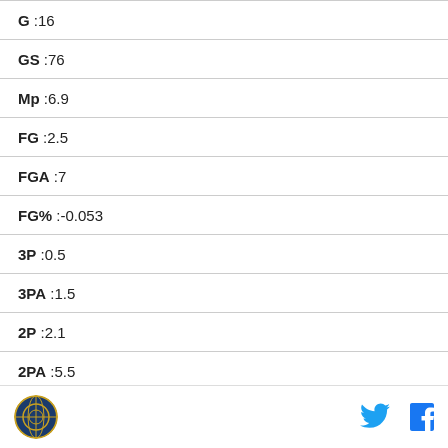| Stat | Value |
| --- | --- |
| G | 16 |
| GS | 76 |
| Mp | 6.9 |
| FG | 2.5 |
| FGA | 7 |
| FG% | -0.053 |
| 3P | 0.5 |
| 3PA | 1.5 |
| 2P | 2.1 |
| 2PA | 5.5 |
| 2P% | -0.102 |
Logo | Twitter | Facebook